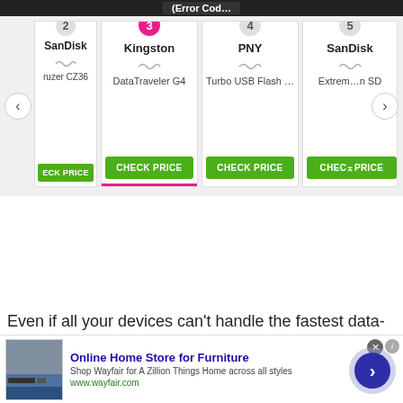(Error Cod…
[Figure (screenshot): Product carousel showing USB drives: SanDisk Cruzer CZ36 (partial), Kingston DataTraveler G4 (highlighted #3), PNY Turbo USB Flash (4), SanDisk Extreme SD (partial, 5). Each card has a CHECK PRICE green button.]
Even if all your devices can’t handle the fastest data-transfer protocols, the devices you purchase in the future will be able to as each new protocol supports
[Figure (screenshot): Advertisement banner for Wayfair: Online Home Store for Furniture. Shop Wayfair for A Zillion Things Home across all styles. www.wayfair.com. Shows furniture image on left.]